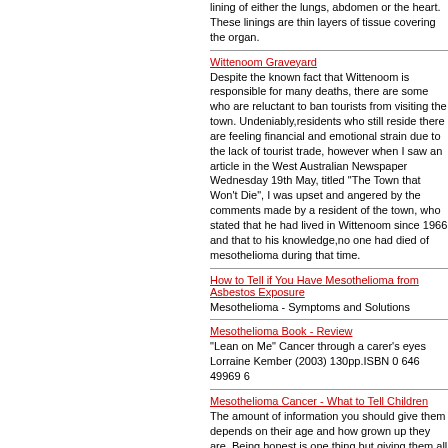lining of either the lungs, abdomen or the heart. These linings are thin layers of tissue covering the organ.
Wittenoom Graveyard
Despite the known fact that Wittenoom is responsible for many deaths, there are some who are reluctant to ban tourists from visiting the town. Undeniably,residents who still reside there are feeling financial and emotional strain due to the lack of tourist trade, however when I saw an article in the West Australian Newspaper Wednesday 19th May, titled "The Town that Won't Die", I was upset and angered by the comments made by a resident of the town, who stated that he had lived in Wittenoom since 1966 and that to his knowledge,no one had died of mesothelioma during that time.
How to Tell if You Have Mesothelioma from Asbestos Exposure
Mesothelioma - Symptoms and Solutions
Mesothelioma Book - Review
"Lean on Me" Cancer through a carer's eyes Lorraine Kember (2003) 130pp.ISBN 0 646 49969 6
Mesothelioma Cancer - What to Tell Children
The amount of information you should give them depends on their age and how grown up they are. Being honest is one thing but giving them all the information at once may be too much. Try spreading it out a bit to ease the shock of the inevitable outcome.
Mesothelioma Lawsuit
Mesothelioma is a cancer of the linings of the